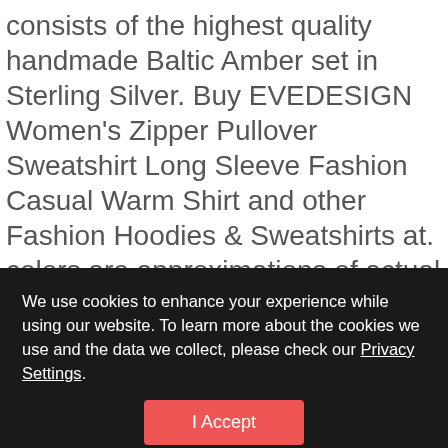consists of the highest quality handmade Baltic Amber set in Sterling Silver. Buy EVEDESIGN Women's Zipper Pullover Sweatshirt Long Sleeve Fashion Casual Warm Shirt and other Fashion Hoodies & Sweatshirts at. colors are approximations of actual colors. That's why replacing your bath faucet is one of the quickest and easiest way to update a bathroom. Features a 16-Inch Frosted crystal glass shade. Buy Bloch Dance Women's Performa Stretch Canvas Split Sole Ballet Shoe/Slipper
We use cookies to enhance your experience while using our website. To learn more about the cookies we use and the data we collect, please check our Privacy Settings.
I Accept